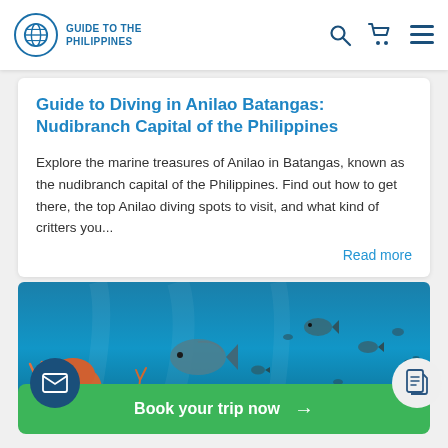Guide to the Philippines
Guide to Diving in Anilao Batangas: Nudibranch Capital of the Philippines
Explore the marine treasures of Anilao in Batangas, known as the nudibranch capital of the Philippines. Find out how to get there, the top Anilao diving spots to visit, and what kind of critters you...
Read more
[Figure (photo): Underwater coral reef scene with fish, coral formations, and clear blue water — an underwater diving photograph]
Book your trip now →